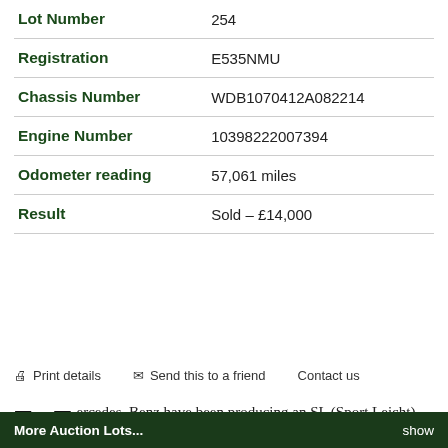| Field | Value |
| --- | --- |
| Lot Number | 254 |
| Registration | E535NMU |
| Chassis Number | WDB1070412A082214 |
| Engine Number | 10398222007394 |
| Odometer reading | 57,061 miles |
| Result | Sold – £14,000 |
Print details   Send this to a friend   Contact us
Mercedes–Benz have been producing an SL (Sport Leicht) model or range of models since 1954. The similarly styled but mechanically unrelated
More Auction Lots...   show